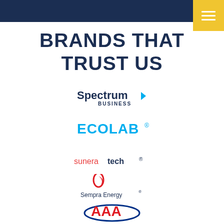BRANDS THAT TRUST US
[Figure (logo): Spectrum Business logo]
[Figure (logo): ECOLAB logo]
[Figure (logo): suneratech logo]
[Figure (logo): Sempra Energy logo]
[Figure (logo): AAA logo]